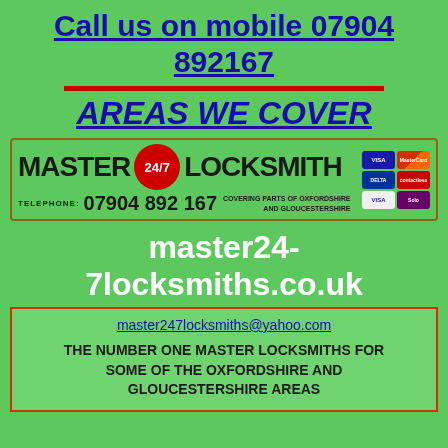Call us on mobile 07904 892167
AREAS WE COVER
[Figure (logo): Master 24/7 Locksmith logo with phone number 07904 892 167, covering parts of Oxfordshire and Gloucestershire, payment cards grid (Visa, Mastercard, Delta, Contactless, Visa Electron, etc.)]
master24-7locksmiths.co.uk
master247locksmiths@yahoo.com

THE NUMBER ONE MASTER LOCKSMITHS FOR SOME OF THE OXFORDSHIRE AND GLOUCESTERSHIRE AREAS